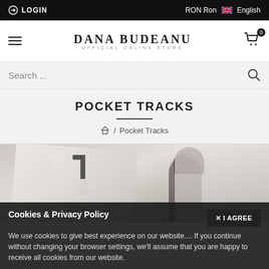LOGIN | RON Ron | English
DANA BUDEANU — OFFICIAL ONLINE STORE
Search ...
POCKET TRACKS
🏠 / Pocket Tracks
[Figure (photo): Fashion product photo showing a woman with dark hair in a studio with white garments on hangers]
Cookies & Privacy Policy
We use cookies to give best experience on our website.... If you continue without changing your browser settings, we'll assume that you are happy to receive all cookies from our website.